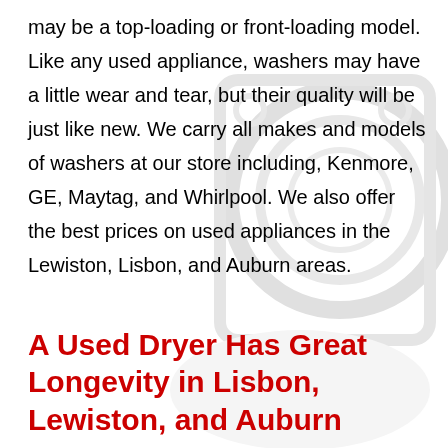may be a top-loading or front-loading model. Like any used appliance, washers may have a little wear and tear, but their quality will be just like new. We carry all makes and models of washers at our store including, Kenmore, GE, Maytag, and Whirlpool. We also offer the best prices on used appliances in the Lewiston, Lisbon, and Auburn areas.
A Used Dryer Has Great Longevity in Lisbon, Lewiston, and Auburn